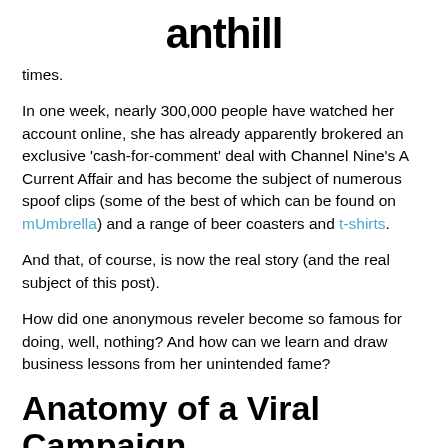anthill
times.
In one week, nearly 300,000 people have watched her account online, she has already apparently brokered an exclusive 'cash-for-comment' deal with Channel Nine's A Current Affair and has become the subject of numerous spoof clips (some of the best of which can be found on mUmbrella) and a range of beer coasters and t-shirts.
And that, of course, is now the real story (and the real subject of this post).
How did one anonymous reveler become so famous for doing, well, nothing? And how can we learn and draw business lessons from her unintended fame?
Anatomy of a Viral Campaign